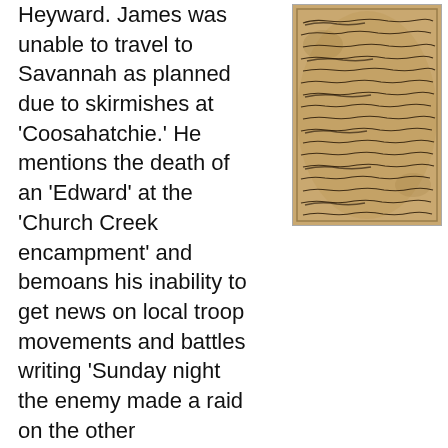Heyward. James was unable to travel to Savannah as planned due to skirmishes at 'Coosahatchie.' He mentions the death of an 'Edward' at the 'Church Creek encampment' and bemoans his inability to get news on local troop movements and battles writing 'Sunday night the enemy made a raid on the other
[Figure (photo): A photograph of a handwritten historical letter, written in cursive script on aged, yellowed paper with visible wear and staining.]